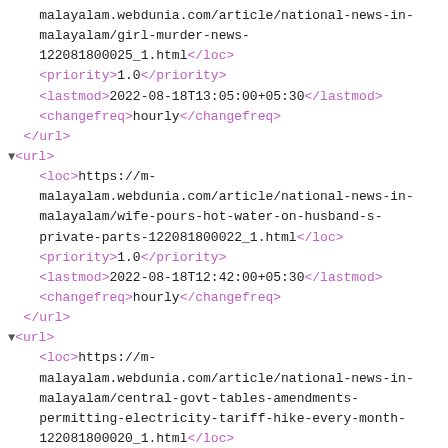malayalam.webdunia.com/article/national-news-in-malayalam/girl-murder-news-122081800025_1.html</loc> <priority>1.0</priority> <lastmod>2022-08-18T13:05:00+05:30</lastmod> <changefreq>hourly</changefreq> </url> <url> <loc>https://m-malayalam.webdunia.com/article/national-news-in-malayalam/wife-pours-hot-water-on-husband-s-private-parts-122081800022_1.html</loc> <priority>1.0</priority> <lastmod>2022-08-18T12:42:00+05:30</lastmod> <changefreq>hourly</changefreq> </url> <url> <loc>https://m-malayalam.webdunia.com/article/national-news-in-malayalam/central-govt-tables-amendments-permitting-electricity-tariff-hike-every-month-122081800020_1.html</loc> <priority>1.0</priority> <lastmod>2022-08-18T12:27:00+05:30</lastmod> <changefreq>hourly</changefreq> </url> <url> <loc>https://m-malayalam.webdunia.com/article/kerala-news-in-malayalam/harassment-maravur-thodupuzha-